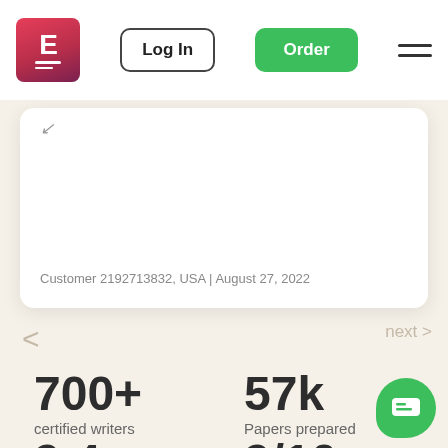[Figure (logo): EssayPro logo — pink/red square with letter E and two horizontal lines]
Log In
Order
Customer 2192713832, USA | August 27, 2022
< next >
700+
certified writers
57k
Papers prepared
9.4
9/10